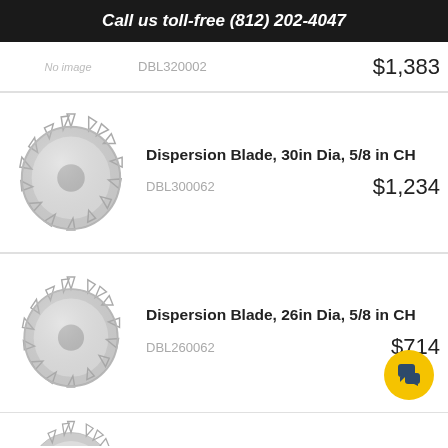Call us toll-free (812) 202-4047
DBL320002  $1,383
[Figure (photo): Circular dispersion blade with serrated teeth, 30in diameter, metallic silver]
Dispersion Blade, 30in Dia, 5/8in CH
DBL300062  $1,234
[Figure (photo): Circular dispersion blade with serrated teeth, 26in diameter, metallic silver]
Dispersion Blade, 26in Dia, 5/8in CH
DBL260062  $714
[Figure (photo): Partial view of circular dispersion blade with serrated teeth, bottom of page]